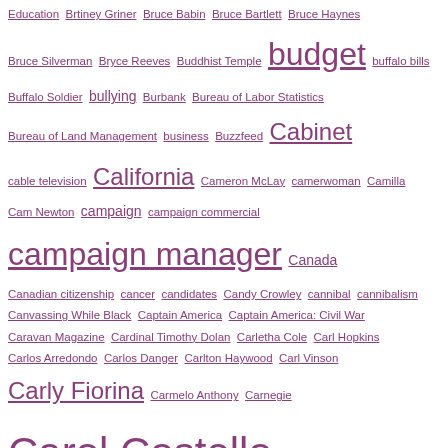Education Brtiney Griner Bruce Babin Bruce Bartlett Bruce Haynes Bruce Silverman Bryce Reeves Buddhist Temple budget buffalo bills Buffalo Soldier bullying Burbank Bureau of Labor Statistics Bureau of Land Management business Buzzfeed Cabinet cable television California Cameron McLay camerwoman Camilla Cam Newton campaign campaign commercial campaign manager Canada Canadian citizenship cancer candidates Candy Crowley cannibal cannibalism Canvassing While Black Captain America Captain America: Civil War Caravan Magazine Cardinal Timothy Dolan Carletha Cole Carl Hopkins Carlos Arredondo Carlos Danger Carlton Haywood Carl Vinson Carly Fiorina Carmelo Anthony Carnegie Carol Costello Carole Simpson Carolina Panthers Caroline Modarressy-Tehrani Carol Lea Carol Lee Carolyn Castiglia Caron Butler Carrier cartoon Casey Heynes Cassisu X Cassius Clay Catch the Thrones Catholic Church Cathy McMorris Rodgers Cathy Williams cattle CBC CBC Weekend CBS Ceasar Mitchell CEBR Report Cecil Gaines celebrity boxing Cenk Uygur Census Center for Economics and Business Research Center for Strategic and International Studies Chad Johnson Chad Ochocinco chains Chaka Fattah chant Charles Barkley Charles Darwin